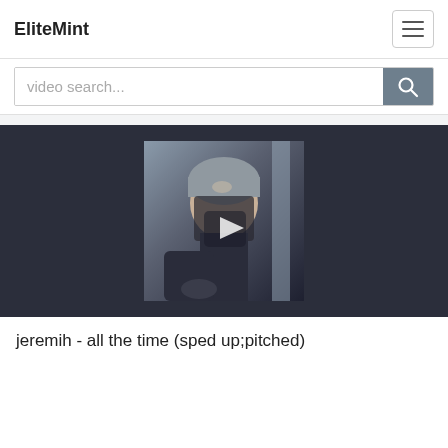EliteMint
video search...
[Figure (screenshot): Video player showing an anime character (gray-haired figure) with a play button overlay, on a dark background]
jeremih - all the time (sped up;pitched)